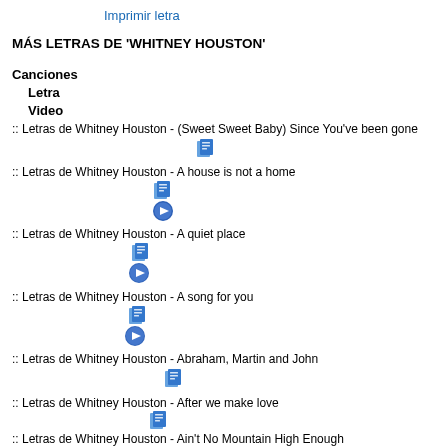Imprimir letra
MÁS LETRAS DE 'WHITNEY HOUSTON'
Canciones
    Letra
    Video
:: Letras de Whitney Houston - (Sweet Sweet Baby) Since You've been gone
:: Letras de Whitney Houston - A house is not a home
:: Letras de Whitney Houston - A quiet place
:: Letras de Whitney Houston - A song for you
:: Letras de Whitney Houston - Abraham, Martin and John
:: Letras de Whitney Houston - After we make love
:: Letras de Whitney Houston - Ain't No Mountain High Enough